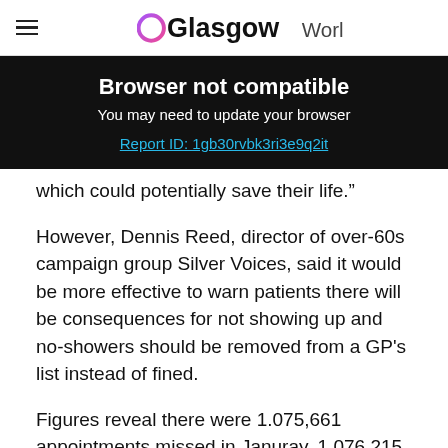Glasgow World
Browser not compatible
You may need to update your browser
Report ID: 1gb30rvbk3ri3e9q2it
which could potentially save their life."
However, Dennis Reed, director of over-60s campaign group Silver Voices, said it would be more effective to warn patients there will be consequences for not showing up and no-showers should be removed from a GP's list instead of fined.
Figures reveal there were 1.075,661 appointments missed in Januray, 1,076,215 in